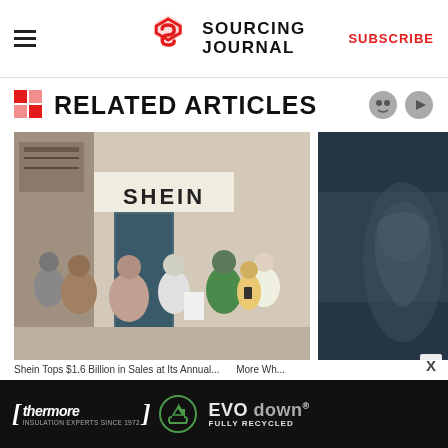Sourcing Journal — SUBSCRIBE
RELATED ARTICLES
[Figure (photo): People queuing outside a SHEIN pop-up store on a city street]
[Figure (photo): Dark moody photo, partially visible, appears to show a person in the shadows]
[Figure (other): Thermore EVO down advertisement banner — Insulation experts since 1972, fully recycled]